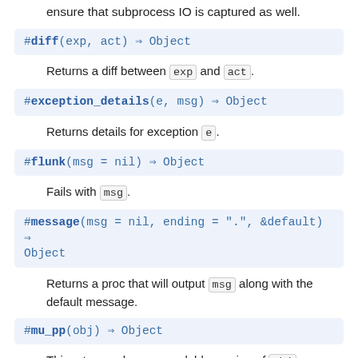ensure that subprocess IO is captured as well.
#diff(exp, act) ⇒ Object
Returns a diff between exp and act.
#exception_details(e, msg) ⇒ Object
Returns details for exception e.
#flunk(msg = nil) ⇒ Object
Fails with msg.
#message(msg = nil, ending = ".", &default) ⇒ Object
Returns a proc that will output msg along with the default message.
#mu_pp(obj) ⇒ Object
This returns a human-readable version of obj.
#mu_pp_for_diff(obj) ⇒ Object
This returns a diff-able human-readable version of obj.